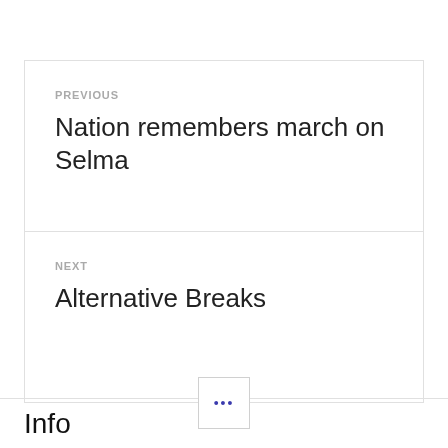PREVIOUS
Nation remembers march on Selma
NEXT
Alternative Breaks
•••
Info